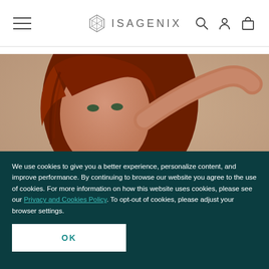ISAGENIX navigation bar with hamburger menu, logo, search, account, and cart icons
[Figure (photo): Close-up portrait of a woman with auburn/red hair, hand raised touching her hair, looking toward the camera. Beige/taupe background.]
We use cookies to give you a better experience, personalize content, and improve performance. By continuing to browse our website you agree to the use of cookies. For more information on how this website uses cookies, please see our Privacy and Cookies Policy. To opt-out of cookies, please adjust your browser settings.
OK